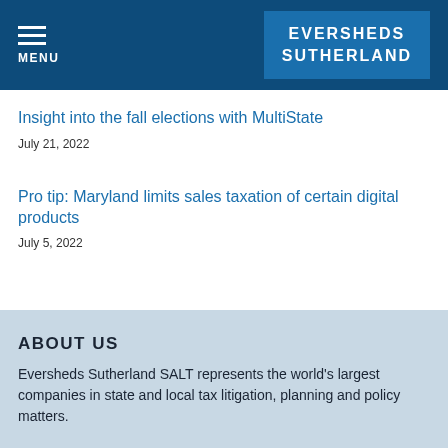MENU | EVERSHEDS SUTHERLAND
Insight into the fall elections with MultiState
July 21, 2022
Pro tip: Maryland limits sales taxation of certain digital products
July 5, 2022
ABOUT US
Eversheds Sutherland SALT represents the world's largest companies in state and local tax litigation, planning and policy matters.